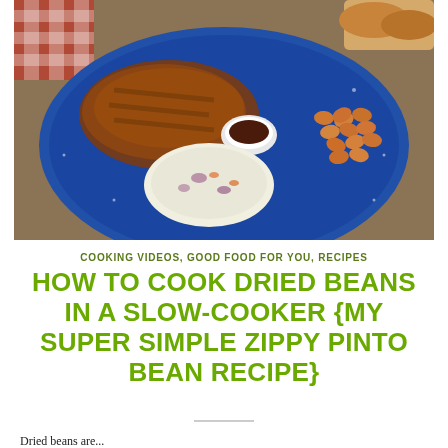[Figure (photo): A blue speckled camping plate with grilled chicken pieces, pinto beans, coleslaw, and a small white ramekin of BBQ sauce on a wooden table with a red checkered napkin.]
COOKING VIDEOS, GOOD FOOD FOR YOU, RECIPES
HOW TO COOK DRIED BEANS IN A SLOW-COOKER {MY SUPER SIMPLE ZIPPY PINTO BEAN RECIPE}
Dried beans are...